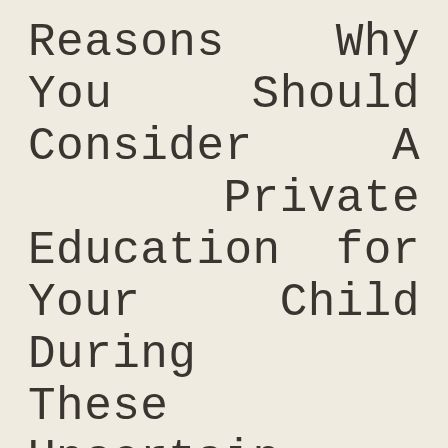Reasons Why You Should Consider A Private Education for Your Child During These Uncertain Times
The current pandemic is causing a stir around the world with businesses and offices shutting down every other day. As a result, many parents are finding themselves spending more time with their children than usual since they cannot go to school anymore. As much as this may be a good thing in terms of strengthening the bond between children and their parents, there is the danger of falling behind on education.
It is still not yet clear when public schools will reopen. For that reason, finding ways to help your child continue learning during these uncertain times is a necessity if you do not want them to fall behind. Pursuing a well-found education now and. The to the rds in